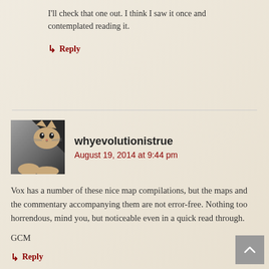I'll check that one out. I think I saw it once and contemplated reading it.
↳ Reply
whyevolutionistrue
August 19, 2014 at 9:44 pm
Vox has a number of these nice map compilations, but the maps and the commentary accompanying them are not error-free. Nothing too horrendous, mind you, but noticeable even in a quick read through.

GCM
↳ Reply